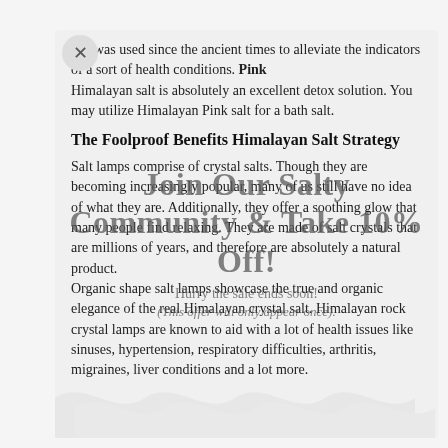salt was used since the ancient times to alleviate the indicators of a sort of health conditions. Pink Himalayan salt is absolutely an excellent detox solution. You may utilize Himalayan Pink salt for a bath salt.
The Foolproof Benefits Himalayan Salt Strategy
Salt lamps comprise of crystal salts. Though they are becoming increasingly popular, many of us still have no idea of what they are. Additionally, they offer a soothing glow that many people find relaxing. They are made of salt crystals that are millions of years, and therefore are absolutely a natural product. Organic shape salt lamps showcase the true and organic elegance of the real Himalayan crystal salt. Himalayan rock crystal lamps are known to aid with a lot of health issues like sinuses, hypertension, respiratory difficulties, arthritis, migraines, liver conditions and a lot more.
Join Our Salty Community & Take 10% Off!
Hurry the sale ends soon!
(This offer will only appear once).